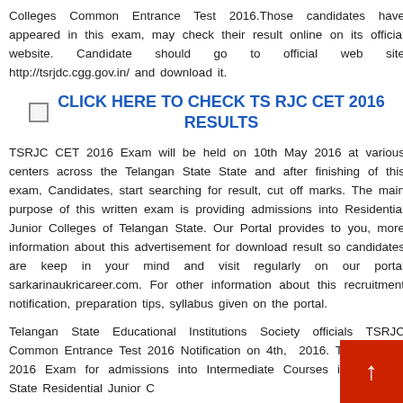Colleges Common Entrance Test 2016.Those candidates have appeared in this exam, may check their result online on its official website. Candidate should go to official web site http://tsrjdc.cgg.gov.in/ and download it.
CLICK HERE TO CHECK TS RJC CET 2016 RESULTS
TSRJC CET 2016 Exam will be held on 10th May 2016 at various centers across the Telangan State State and after finishing of this exam, Candidates, start searching for result, cut off marks. The main purpose of this written exam is providing admissions into Residential Junior Colleges of Telangan State. Our Portal provides to you, more information about this advertisement for download result so candidates are keep in your mind and visit regularly on our portal sarkarinaukricareer.com. For other information about this recruitment notification, preparation tips, syllabus given on the portal.
Telangan State Educational Institutions Society officials TSRJC Common Entrance Test 2016 Notification on 4th, 2016. TSRJC CET 2016 Exam for admissions into Intermediate Courses in Telangan State Residential Junior C